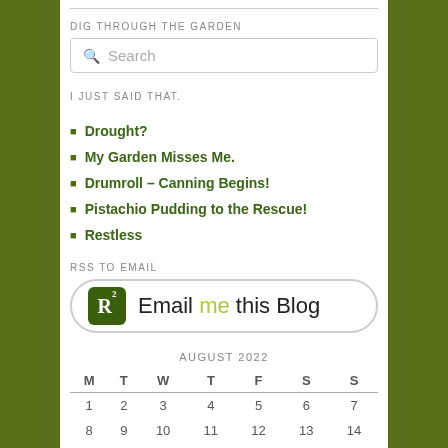DIG THROUGH THE GARDEN
Search
I JUST SAID THAT.
Drought?
My Garden Misses Me.
Drumroll – Canning Begins!
Pistachio Pudding to the Rescue!
Restless
RSS TO EMAIL
[Figure (screenshot): RSS to Email button with R-squared logo and text 'Email me this Blog']
| AUGUST 2022 |  |  |  |  |  |  |
| --- | --- | --- | --- | --- | --- | --- |
| M | T | W | T | F | S | S |
| 1 | 2 | 3 | 4 | 5 | 6 | 7 |
| 8 | 9 | 10 | 11 | 12 | 13 | 14 |